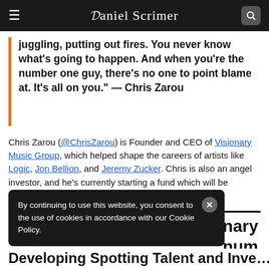Daniel Scrimer
juggling, putting out fires. You never know what's going to happen. And when you're the number one guy, there's no one to point blame at. It's all on you." — Chris Zarou
Chris Zarou (@ChrisZarou) is Founder and CEO of Visionary Music Group, which helped shape the careers of artists like Logic, Jon Bellion, and Jeremy Zucker. Chris is also an angel investor, and he's currently starting a fund which will be announced in the coming months.
By continuing to use this website, you consent to the use of cookies in accordance with our Cookie Policy.
...inary ...num
Developing Spotting Talent and Investing